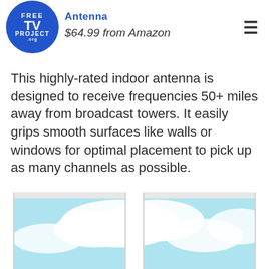[Figure (logo): The Free TV Project circular blue logo with 'FREE TV PROJECT' text in white]
Antenna
$64.99 from Amazon
This highly-rated indoor antenna is designed to receive frequencies 50+ miles away from broadcast towers. It easily grips smooth surfaces like walls or windows for optimal placement to pick up as many channels as possible.
[Figure (photo): A white window frame with a view of blue sky and white clouds outside]